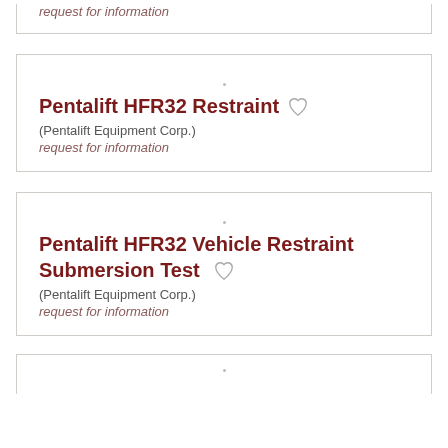request for information
Pentalift HFR32 Restraint
(Pentalift Equipment Corp.)
request for information
Pentalift HFR32 Vehicle Restraint Submersion Test
(Pentalift Equipment Corp.)
request for information